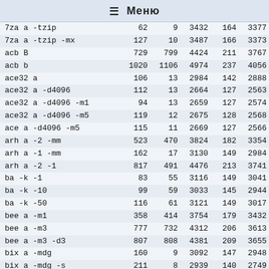☰ Меню
| 7za a -tzip | 62 | 9 | 3432 | 164 | 3377 |
| 7za a -tzip -mx | 127 | 10 | 3487 | 166 | 3373 |
| acb B | 729 | 799 | 4424 | 211 | 3767 |
| acb b | 1020 | 1106 | 4974 | 237 | 4056 |
| ace32 a | 106 | 13 | 2984 | 142 | 2888 |
| ace32 a -d4096 | 112 | 13 | 2664 | 127 | 2563 |
| ace32 a -d4096 -m1 | 94 | 13 | 2659 | 127 | 2574 |
| ace32 a -d4096 -m5 | 119 | 12 | 2675 | 128 | 2568 |
| ace a -d4096 -m5 | 115 | 11 | 2669 | 127 | 2566 |
| arh a -2 -mm | 523 | 470 | 3824 | 182 | 3354 |
| arh a -1 -mm | 162 | 17 | 3130 | 149 | 2984 |
| arh a -2 -1 | 817 | 491 | 4476 | 213 | 3741 |
| ba -k -1 | 83 | 55 | 3116 | 149 | 3041 |
| ba -k -10 | 99 | 59 | 3033 | 145 | 2944 |
| ba -k -50 | 116 | 61 | 3121 | 149 | 3017 |
| bee a -m1 | 358 | 414 | 3754 | 179 | 3432 |
| bee a -m3 | 777 | 732 | 4312 | 206 | 3613 |
| bee a -m3 -d3 | 807 | 808 | 4381 | 209 | 3655 |
| bix a -mdg | 160 | 9 | 3092 | 147 | 2948 |
| bix a -mdg -s | 211 | 8 | 2939 | 140 | 2749 |
| boa -m15 | 1117 | 1068 | 5065 | 242 | 4060 |
| boa -m15 -s | 1130 | 1220 | 5227 | 249 | 4210 |
| boa -m7 | 925 | 966 | 4796 | 229 | 3963 |
| bzip2 -k -1 | 78 | 23 | 3323 | 158 | 3254 |
| bzip2 -k -9 | 79 | 25 | 3189 | 152 | 3119 |
| dc e | 208 | 35 | 2918 | 139 | 2731 |
| dc e -b16300 | 286 | 33 | 2510 | 120 | 2253 |